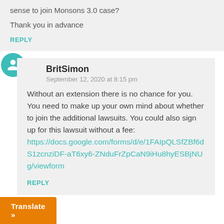sense to join Monsons 3.0 case?
Thank you in advance
REPLY
BritSimon
September 12, 2020 at 8:15 pm
Without an extension there is no chance for you. You need to make up your own mind about whether to join the additional lawsuits. You could also sign up for this lawsuit without a fee: https://docs.google.com/forms/d/e/1FAIpQLSfZBf6dS1zcnziDF-aT6xy6-ZNduFrZpCaN9iHu8hyESBjNUg/viewform
REPLY
Translate »